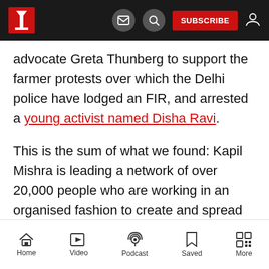Navigation bar with logo, mail icon, search icon, SUBSCRIBE button, user icon
advocate Greta Thunberg to support the farmer protests over which the Delhi police have lodged an FIR, and arrested a young activist named Disha Ravi.
This is the sum of what we found: Kapil Mishra is leading a network of over 20,000 people who are working in an organised fashion to create and spread communal hatred.
Welcome to hate factory
Home  Video  Podcast  Saved  More